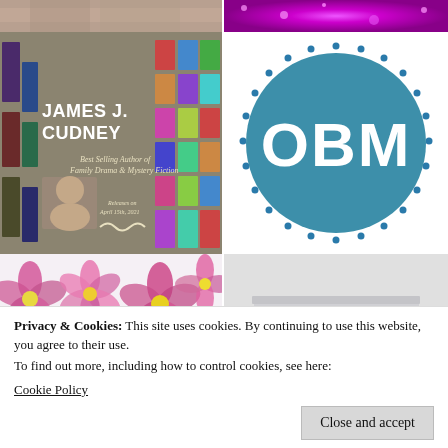[Figure (photo): Partial view of a shelf or bar with warm brownish tones, cropped at top]
[Figure (photo): Glittery purple/magenta background, cropped at top]
[Figure (illustration): James J. Cudney author banner - Best Selling Author of Family Drama & Mystery Fiction, with book covers arranged on sides and author photo, releases April 15th 2021]
[Figure (logo): OBM logo - teal/blue circle with white letters OBM and dotted border pattern]
[Figure (photo): Floral pattern with pink/purple flowers on white and dark background]
[Figure (photo): Stack of white/grey rectangular boxes on light background]
Privacy & Cookies: This site uses cookies. By continuing to use this website, you agree to their use.
To find out more, including how to control cookies, see here:
Cookie Policy
Close and accept